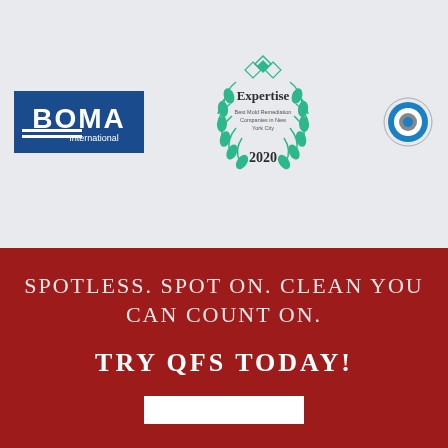[Figure (logo): BOMA International logo — white text on blue rectangle background with two white horizontal lines at bottom]
[Figure (logo): Expertise badge — circular green laurel wreath with diamond shapes at top, text reads 'Expertise, Best Mold Remediation Companies in New York City, 2020']
[Figure (logo): Circular logo partially cropped on right edge — blue and grey concentric circles]
SPOTLESS. SPOT ON. CLEAN YOU CAN COUNT ON.
TRY QFS TODAY!